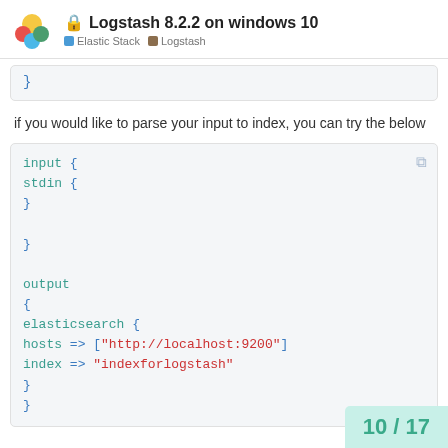Logstash 8.2.2 on windows 10 | Elastic Stack | Logstash
}
if you would like to parse your input to index, you can try the below
input {
stdin {
}

}

output
{
elasticsearch {
hosts => ["http://localhost:9200"]
index => "indexforlogstash"
}
}
10 / 17